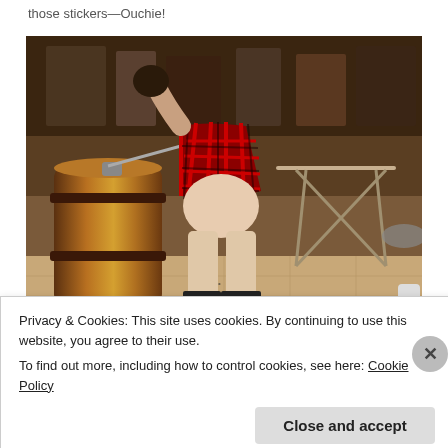those stickers—Ouchie!
[Figure (photo): A person in a red plaid skirt bending over a large wooden barrel in what appears to be a bar or pub setting, exposing their backside. Metal bar stools and tables are visible in the background on a tiled floor.]
Privacy & Cookies: This site uses cookies. By continuing to use this website, you agree to their use.
To find out more, including how to control cookies, see here: Cookie Policy
Close and accept